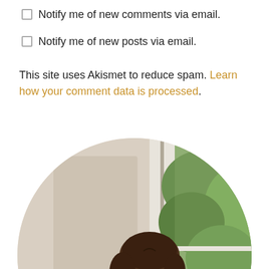Notify me of new comments via email.
Notify me of new posts via email.
This site uses Akismet to reduce spam. Learn how your comment data is processed.
[Figure (photo): Circular cropped photo of a young woman with dark hair in a ponytail, wearing a cream cable-knit sweater, sitting near a window and reading a magazine. Background shows a beige wall, white window frame, and trees outside.]